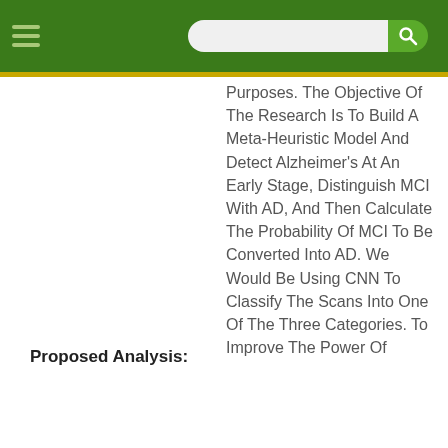Proposed Analysis:
Purposes. The Objective Of The Research Is To Build A Meta-Heuristic Model And Detect Alzheimer's At An Early Stage, Distinguish MCI With AD, And Then Calculate The Probability Of MCI To Be Converted Into AD. We Would Be Using CNN To Classify The Scans Into One Of The Three Categories. To Improve The Power Of